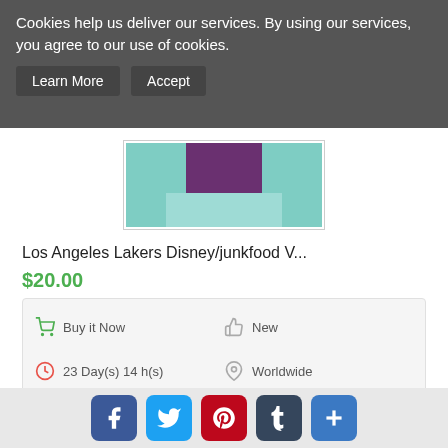Cookies help us deliver our services. By using our services, you agree to our use of cookies.
Learn More   Accept
[Figure (photo): Product thumbnail image showing Lakers item with purple and teal colors]
Los Angeles Lakers Disney/junkfood V...
$20.00
Buy it Now   New   23 Day(s) 14 h(s)   Worldwide   3 days   No Returns
Buy it Now
[Figure (logo): Disneyland logo circular badge]
Facebook Twitter Pinterest Tumblr More